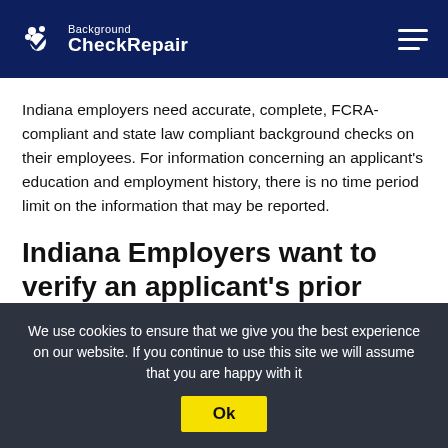Background CheckRepair
Indiana employers need accurate, complete, FCRA-compliant and state law compliant background checks on their employees. For information concerning an applicant’s education and employment history, there is no time period limit on the information that may be reported.
Indiana Employers want to verify an applicant’s prior employment experience
An Indiana employer will want to verify that the information
We use cookies to ensure that we give you the best experience on our website. If you continue to use this site we will assume that you are happy with it